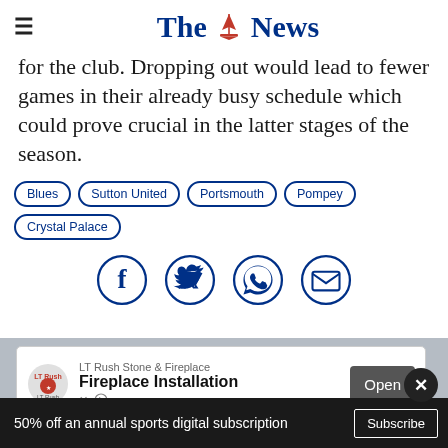The News
for the club. Dropping out would lead to fewer games in their already busy schedule which could prove crucial in the latter stages of the season.
Blues
Sutton United
Portsmouth
Pompey
Crystal Palace
[Figure (infographic): Social sharing icons: Facebook, Twitter, WhatsApp, Email]
More
[Figure (infographic): Advertisement: LT Rush Stone & Fireplace - Fireplace Installation - Open button]
50% off an annual sports digital subscription
Subscribe